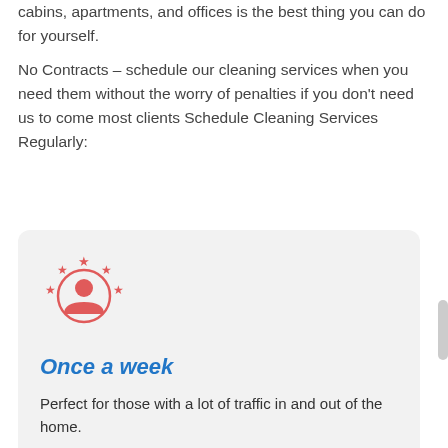cabins, apartments, and offices is the best thing you can do for yourself.
No Contracts – schedule our cleaning services when you need them without the worry of penalties if you don't need us to come most clients Schedule Cleaning Services Regularly:
[Figure (illustration): Red person/user icon with stars around it, representing a customer rating or testimonial icon]
Once a week
Perfect for those with a lot of traffic in and out of the home.